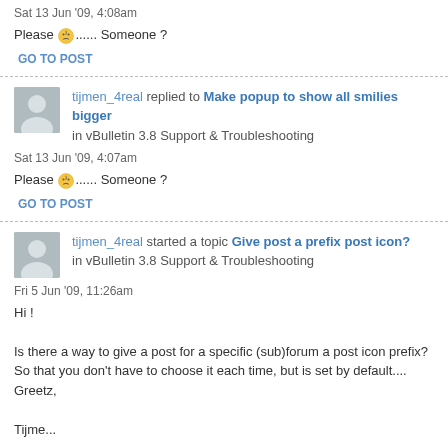Sat 13 Jun '09, 4:08am
Please 🤔...... Someone ?
GO TO POST
tijmen_4real replied to Make popup to show all smilies bigger in vBulletin 3.8 Support & Troubleshooting
Sat 13 Jun '09, 4:07am
Please 🤔...... Someone ?
GO TO POST
tijmen_4real started a topic Give post a prefix post icon? in vBulletin 3.8 Support & Troubleshooting
Fri 5 Jun '09, 11:26am
Hi !

Is there a way to give a post for a specific (sub)forum a post icon prefix? So that you don't have to choose it each time, but is set by default....
Greetz,

Tijme...
GO TO POST